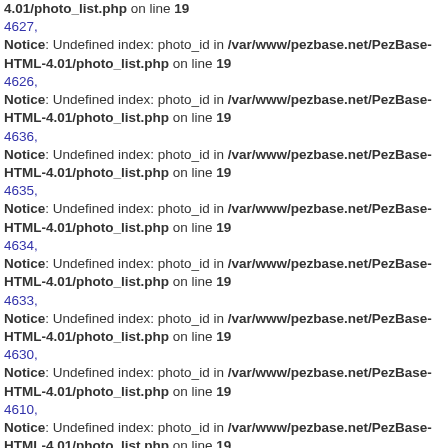4.01/photo_list.php on line 19
4627,
Notice: Undefined index: photo_id in /var/www/pezbase.net/PezBase-HTML-4.01/photo_list.php on line 19
4626,
Notice: Undefined index: photo_id in /var/www/pezbase.net/PezBase-HTML-4.01/photo_list.php on line 19
4636,
Notice: Undefined index: photo_id in /var/www/pezbase.net/PezBase-HTML-4.01/photo_list.php on line 19
4635,
Notice: Undefined index: photo_id in /var/www/pezbase.net/PezBase-HTML-4.01/photo_list.php on line 19
4634,
Notice: Undefined index: photo_id in /var/www/pezbase.net/PezBase-HTML-4.01/photo_list.php on line 19
4633,
Notice: Undefined index: photo_id in /var/www/pezbase.net/PezBase-HTML-4.01/photo_list.php on line 19
4630,
Notice: Undefined index: photo_id in /var/www/pezbase.net/PezBase-HTML-4.01/photo_list.php on line 19
4610,
Notice: Undefined index: photo_id in /var/www/pezbase.net/PezBase-HTML-4.01/photo_list.php on line 19
4649,
Notice: Undefined index: photo_id in /var/www/pezbase.net/PezBase-HTML-4.01/photo_list.php on line 19
4639,
Notice: Undefined index: photo_id in /var/www/pezbase.net/PezBase-HTML-4.01/photo_list.php on line 19
4620,
Notice: Undefined index: photo_id in /var/www/pezbase.net/PezBase-HTML-4.01/photo_list.php on line 19